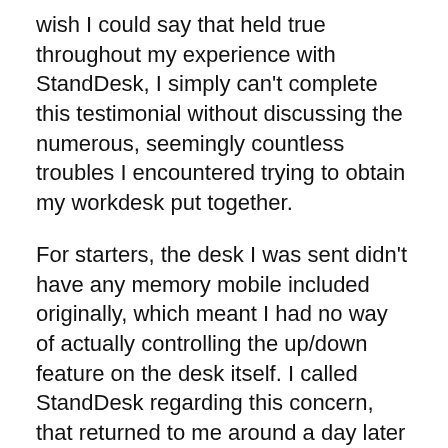wish I could say that held true throughout my experience with StandDesk, I simply can't complete this testimonial without discussing the numerous, seemingly countless troubles I encountered trying to obtain my workdesk put together.
For starters, the desk I was sent didn't have any memory mobile included originally, which meant I had no way of actually controlling the up/down feature on the desk itself. I called StandDesk regarding this concern, that returned to me around a day later on with an apology and also a promise that a brand-new one would be shipped shortly.
St...